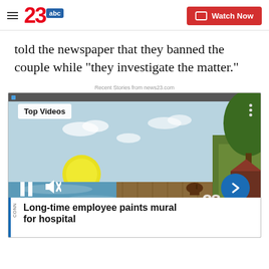23 abc | Watch Now
told the newspaper that they banned the couple while "they investigate the matter."
Recent Stories from news23.com
[Figure (screenshot): Video player thumbnail showing a mural of a countryside scene with horses, water, and trees. Controls show pause and mute buttons, a blue arrow navigation button, and a '23' watermark. A 'Top Videos' badge is shown in the top left.]
Long-time employee paints mural for hospital